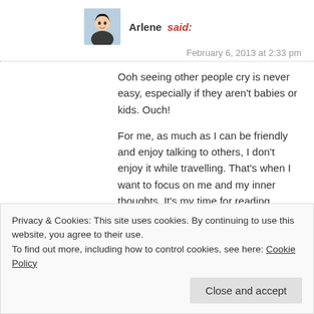Arlene said:
February 6, 2013 at 2:33 pm
Ooh seeing other people cry is never easy, especially if they aren't babies or kids. Ouch!
For me, as much as I can be friendly and enjoy talking to others, I don't enjoy it while travelling. That's when I want to focus on me and my inner thoughts. It's my time for reading, writing and people watching … but not talking. Good thing for ear buds, they work even if you aren't actually listening to anything 🙂
Privacy & Cookies: This site uses cookies. By continuing to use this website, you agree to their use.
To find out more, including how to control cookies, see here: Cookie Policy
Close and accept